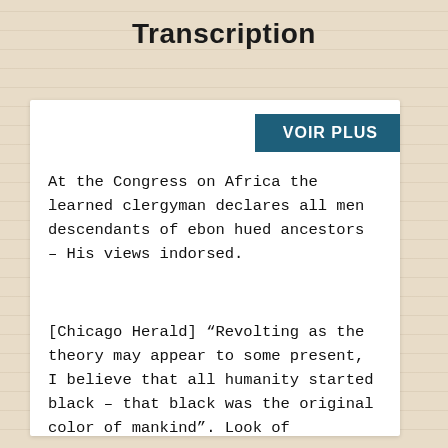Transcription
VOIR PLUS
At the Congress on Africa the learned clergyman declares all men descendants of ebon hued ancestors – His views indorsed.
[Chicago Herald] “Revolting as the theory may appear to some present, I believe that all humanity started black – that black was the original color of mankind”. Look of amazement,...